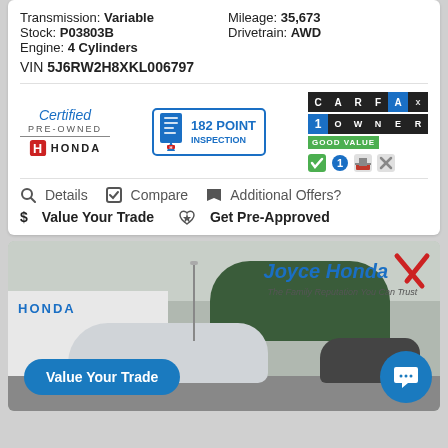Transmission: Variable   Mileage: 35,673
Stock: P03803B   Drivetrain: AWD
Engine: 4 Cylinders
VIN 5J6RW2H8XKL006797
[Figure (logo): Certified Pre-Owned Honda badge, 182 Point Inspection badge, CARFAX 1 Owner Good Value badge with icons]
🔍 Details  ☑ Compare  🏷 Additional Offers?
$ Value Your Trade  👍 Get Pre-Approved
[Figure (photo): Joyce Honda dealership exterior photo with cars and signage, Value Your Trade button and chat button overlay]